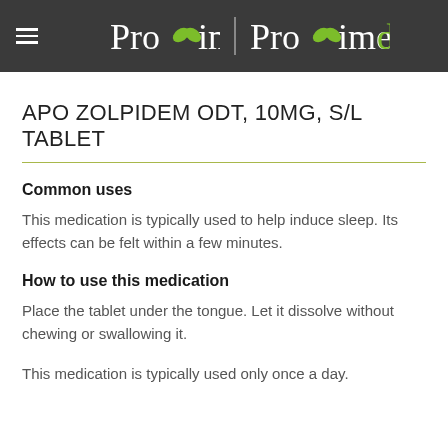[Figure (logo): Proxim | Proximed dual pharmacy brand logo on dark grey background with hamburger menu icon]
APO ZOLPIDEM ODT, 10MG, S/L TABLET
Common uses
This medication is typically used to help induce sleep. Its effects can be felt within a few minutes.
How to use this medication
Place the tablet under the tongue. Let it dissolve without chewing or swallowing it.
This medication is typically used only once a day.